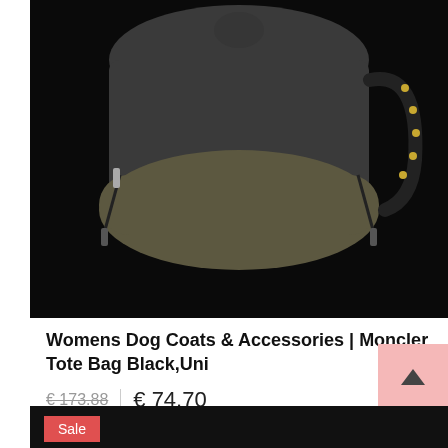[Figure (photo): Product photo of a Moncler Tote Bag in black and olive/green color on a dark background]
Womens Dog Coats & Accessories | Moncler Tote Bag Black,Uni
€ 173.88  € 74.70
[Figure (other): Add to basket button area with wishlist heart button and Add to Basket button, plus scroll-to-top arrow button]
[Figure (photo): Bottom product card showing Sale badge on dark background]